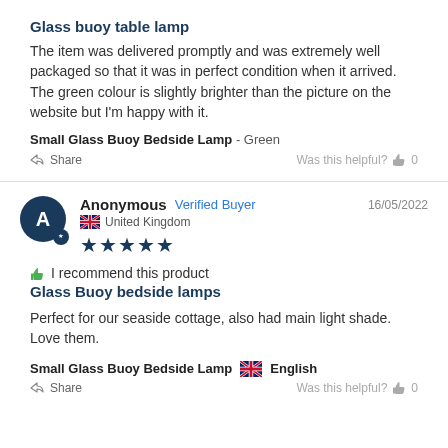Glass buoy table lamp
The item was delivered promptly and was extremely well packaged so that it was in perfect condition when it arrived. The green colour is slightly brighter than the picture on the website but I'm happy with it.
Small Glass Buoy Bedside Lamp - Green
Share   Was this helpful? 0
Anonymous  Verified Buyer  16/05/2022  United Kingdom  ★★★★★
I recommend this product
Glass Buoy bedside lamps
Perfect for our seaside cottage, also had main light shade. Love them.
Small Glass Buoy Bedside Lamp  English
Share   Was this helpful? 0